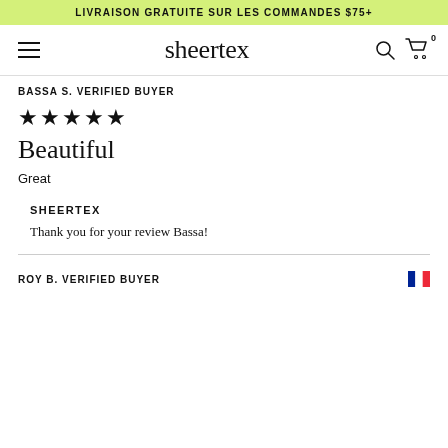LIVRAISON GRATUITE SUR LES COMMANDES $75+
[Figure (logo): Sheertex website navigation bar with hamburger menu, sheertex logo, search icon, and cart icon showing 0 items]
BASSA S. VERIFIED BUYER
★★★★★
Beautiful
Great
SHEERTEX
Thank you for your review Bassa!
ROY B. VERIFIED BUYER